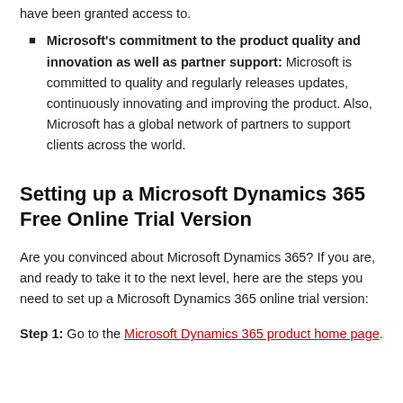have been granted access to.
Microsoft's commitment to the product quality and innovation as well as partner support: Microsoft is committed to quality and regularly releases updates, continuously innovating and improving the product. Also, Microsoft has a global network of partners to support clients across the world.
Setting up a Microsoft Dynamics 365 Free Online Trial Version
Are you convinced about Microsoft Dynamics 365? If you are, and ready to take it to the next level, here are the steps you need to set up a Microsoft Dynamics 365 online trial version:
Step 1: Go to the Microsoft Dynamics 365 product home page.